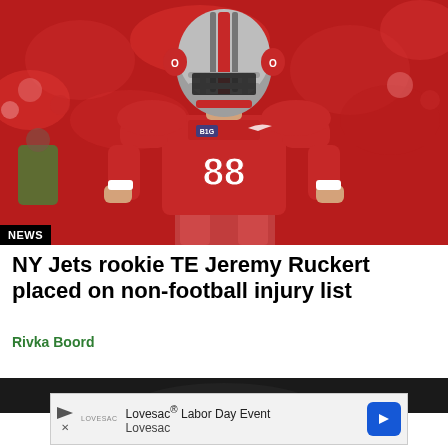[Figure (photo): Ohio State football player wearing number 88 in red uniform with helmet, standing with hands on hips in front of a crowd. NEWS badge in bottom left corner.]
NY Jets rookie TE Jeremy Ruckert placed on non-football injury list
Rivka Boord
[Figure (photo): Partial dark background suggesting another article image below]
Lovesac® Labor Day Event
Lovesac